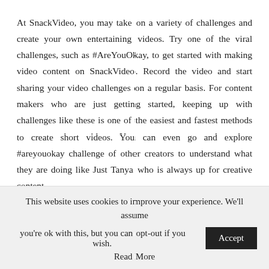At SnackVideo, you may take on a variety of challenges and create your own entertaining videos. Try one of the viral challenges, such as #AreYouOkay, to get started with making video content on SnackVideo. Record the video and start sharing your video challenges on a regular basis. For content makers who are just getting started, keeping up with challenges like these is one of the easiest and fastest methods to create short videos. You can even go and explore #areyouokay challenge of other creators to understand what they are doing like Just Tanya who is always up for creative content.
Furthermore, don't be afraid to include hashtags in the description or caption of your videos, as this is a great technique to get the audience to find and engage with your
This website uses cookies to improve your experience. We'll assume you're ok with this, but you can opt-out if you wish.
Read More